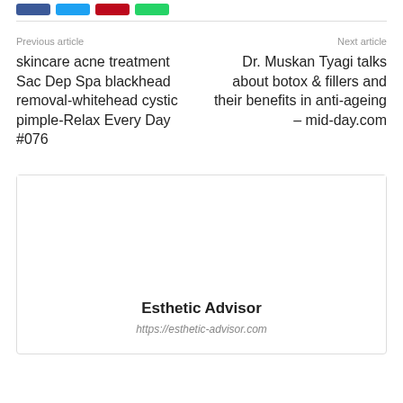[Figure (other): Social share buttons: Facebook (blue), Twitter (cyan), Pinterest (red), WhatsApp (green)]
Previous article
skincare acne treatment Sac Dep Spa blackhead removal-whitehead cystic pimple-Relax Every Day #076
Next article
Dr. Muskan Tyagi talks about botox & fillers and their benefits in anti-ageing – mid-day.com
Esthetic Advisor
https://esthetic-advisor.com